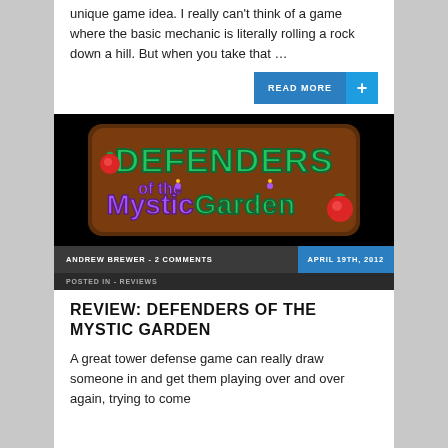unique game idea. I really can't think of a game where the basic mechanic is literally rolling a rock down a hill. But when you take that …
READ MORE +
[Figure (logo): Defenders of the Mystic Garden game logo on black background with green text, purple subtitle, and strawberry decorations]
ANDREW BREWER - 2 COMMENTS | APRIL 19TH, 2012
POSTED IN - REVIEWS
REVIEW: DEFENDERS OF THE MYSTIC GARDEN
A great tower defense game can really draw someone in and get them playing over and over again, trying to come